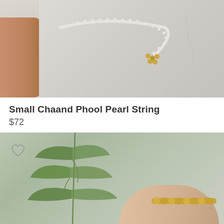[Figure (photo): Product photo of a pearl string necklace with a gold flower/moon pendant (Chaand Phool) worn on a mannequin, with a person's arm visible on the left side. White/grey background.]
Small Chaand Phool Pearl String
$72
[Figure (photo): Product photo showing a hand wearing a gold beaded bracelet, with green plant leaves in the background. Light grey/green background with a heart/wishlist icon in the top left corner.]